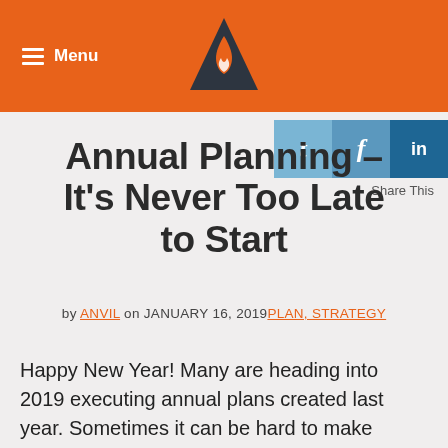Menu
[Figure (logo): Mountain/flame logo in dark gray triangle shape centered in orange header bar]
[Figure (infographic): Social share icons: Twitter (t), Facebook (f), LinkedIn (in)]
Share This
Annual Planning – It's Never Too Late to Start
by ANVIL on JANUARY 16, 2019 PLAN, STRATEGY
Happy New Year! Many are heading into 2019 executing annual plans created last year. Sometimes it can be hard to make planning a priority. Planning gets pushed and pushed and pushed, and the next thing you know the year